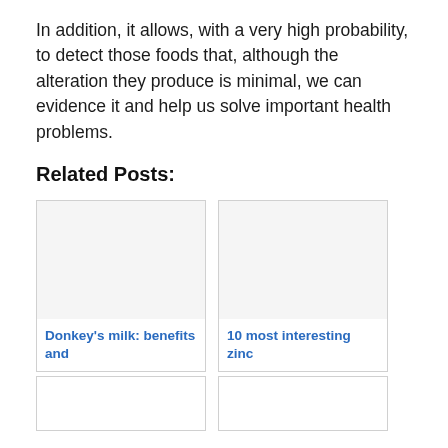In addition, it allows, with a very high probability, to detect those foods that, although the alteration they produce is minimal, we can evidence it and help us solve important health problems.
Related Posts:
[Figure (photo): Card image placeholder for Donkey's milk article]
Donkey's milk: benefits and
[Figure (photo): Card image placeholder for 10 most interesting zinc article]
10 most interesting zinc